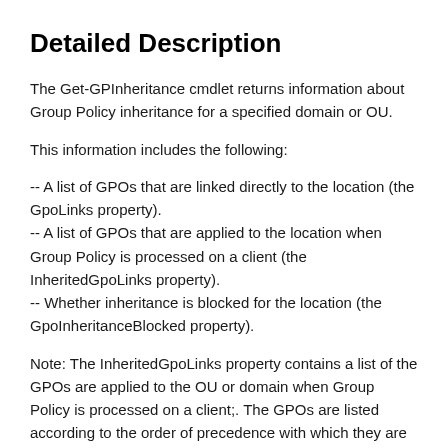Detailed Description
The Get-GPInheritance cmdlet returns information about Group Policy inheritance for a specified domain or OU.
This information includes the following:
-- A list of GPOs that are linked directly to the location (the GpoLinks property).
-- A list of GPOs that are applied to the location when Group Policy is processed on a client (the InheritedGpoLinks property).
-- Whether inheritance is blocked for the location (the GpoInheritanceBlocked property).
Note: The InheritedGpoLinks property contains a list of the GPOs are applied to the OU or domain when Group Policy is processed on a client;. The GPOs are listed according to the order of precedence with which they are applied. This list